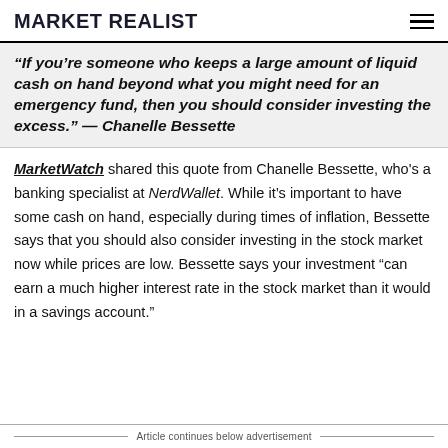MARKET REALIST
“If you’re someone who keeps a large amount of liquid cash on hand beyond what you might need for an emergency fund, then you should consider investing the excess.” — Chanelle Bessette
MarketWatch shared this quote from Chanelle Bessette, who’s a banking specialist at NerdWallet. While it’s important to have some cash on hand, especially during times of inflation, Bessette says that you should also consider investing in the stock market now while prices are low. Bessette says your investment “can earn a much higher interest rate in the stock market than it would in a savings account.”
Article continues below advertisement